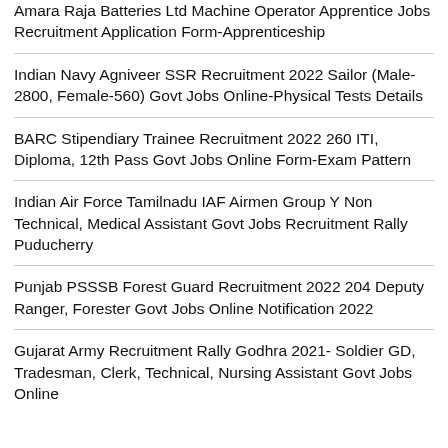Amara Raja Batteries Ltd Machine Operator Apprentice Jobs Recruitment Application Form-Apprenticeship
Indian Navy Agniveer SSR Recruitment 2022 Sailor (Male-2800, Female-560) Govt Jobs Online-Physical Tests Details
BARC Stipendiary Trainee Recruitment 2022 260 ITI, Diploma, 12th Pass Govt Jobs Online Form-Exam Pattern
Indian Air Force Tamilnadu IAF Airmen Group Y Non Technical, Medical Assistant Govt Jobs Recruitment Rally Puducherry
Punjab PSSSB Forest Guard Recruitment 2022 204 Deputy Ranger, Forester Govt Jobs Online Notification 2022
Gujarat Army Recruitment Rally Godhra 2021- Soldier GD, Tradesman, Clerk, Technical, Nursing Assistant Govt Jobs Online